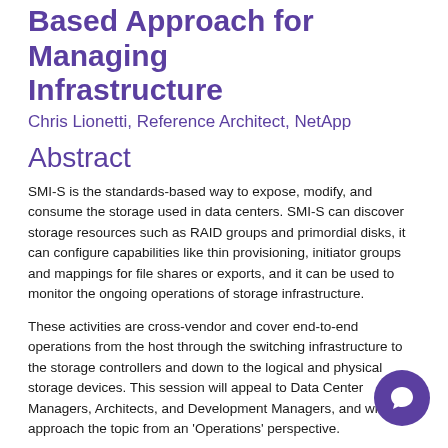Based Approach for Managing Infrastructure
Chris Lionetti, Reference Architect, NetApp
Abstract
SMI-S is the standards-based way to expose, modify, and consume the storage used in data centers. SMI-S can discover storage resources such as RAID groups and primordial disks, it can configure capabilities like thin provisioning, initiator groups and mappings for file shares or exports, and it can be used to monitor the ongoing operations of storage infrastructure.
These activities are cross-vendor and cover end-to-end operations from the host through the switching infrastructure to the storage controllers and down to the logical and physical storage devices. This session will appeal to Data Center Managers, Architects, and Development Managers, and will approach the topic from an 'Operations' perspective.
The audience will receive a fundamental grounding in the and a clear understanding of its value in a production